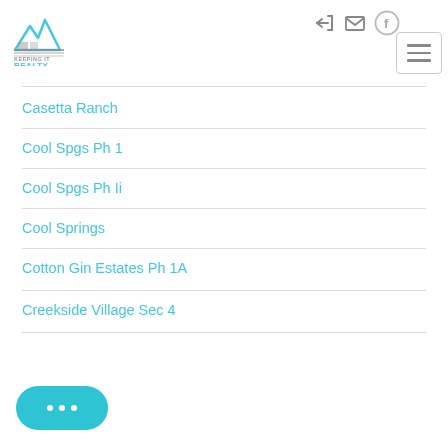[Figure (logo): Keeping It Realty logo with stylized mountain/building graphic in blue and gray]
Casetta Ranch
Cool Spgs Ph 1
Cool Spgs Ph Ii
Cool Springs
Cotton Gin Estates Ph 1A
Creekside Village Sec 4